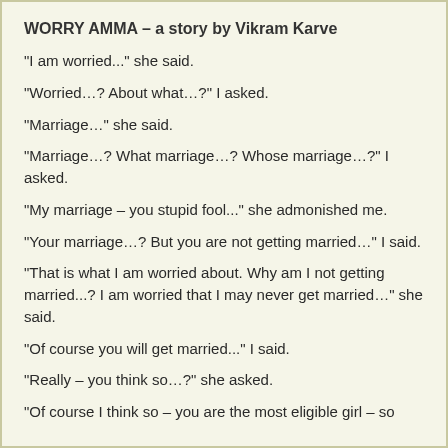WORRY AMMA – a story by Vikram Karve
“I am worried...” she said.
“Worried…? About what…?” I asked.
“Marriage…” she said.
“Marriage…? What marriage…? Whose marriage…?” I asked.
“My marriage – you stupid fool...” she admonished me.
“Your marriage…? But you are not getting married…” I said.
“That is what I am worried about. Why am I not getting married...? I am worried that I may never get married…” she said.
“Of course you will get married...” I said.
“Really – you think so…?” she asked.
“Of course I think so – you are the most eligible girl – so